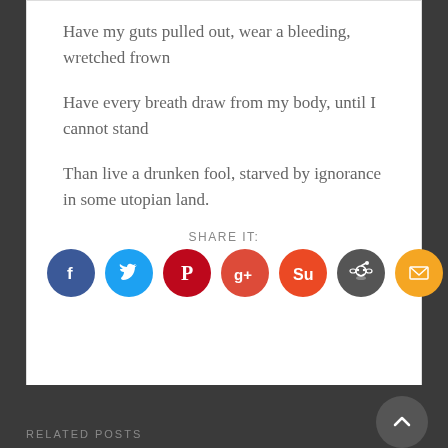Have my guts pulled out, wear a bleeding, wretched frown
Have every breath draw from my body, until I cannot stand
Than live a drunken fool, starved by ignorance in some utopian land.
SHARE IT:
[Figure (infographic): Social sharing icons: Facebook (blue), Twitter (light blue), Pinterest (red), Google+ (red-orange), StumbleUpon (orange-red), Reddit (dark gray), Email (orange)]
RELATED POSTS